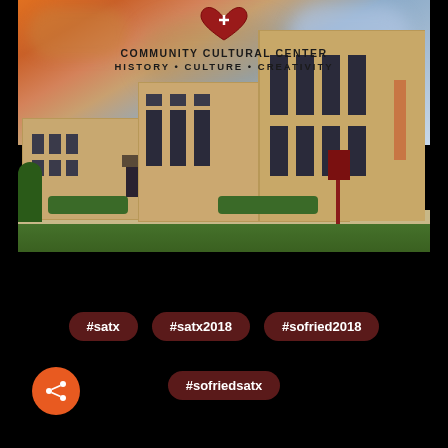[Figure (photo): Exterior photo of Carver Community Cultural Center, a tan/cream limestone building with Art Deco architecture, dramatic sunset sky with orange and blue clouds. Logo at top shows stylized heart with 'CARVER COMMUNITY CULTURAL CENTER' and tagline 'HISTORY • CULTURE • CREATIVITY'.]
#satx
#satx2018
#sofried2018
#sofriedsatx